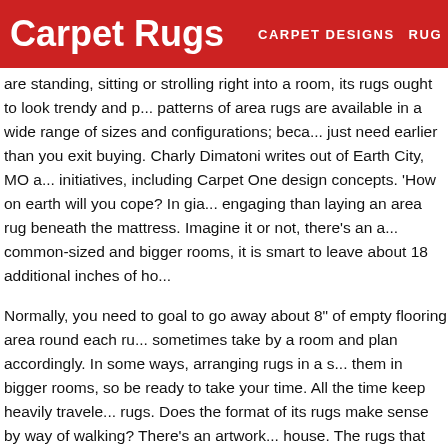Carpet Rugs | CARPET DESIGNS | RUG
are standing, sitting or strolling right into a room, its rugs ought to look trendy and p... patterns of area rugs are available in a wide range of sizes and configurations; beca... just need earlier than you exit buying. Charly Dimatoni writes out of Earth City, MO a... initiatives, including Carpet One design concepts. 'How on earth will you cope? In gia... engaging than laying an area rug beneath the mattress. Imagine it or not, there's an a... common-sized and bigger rooms, it is smart to leave about 18 additional inches of ho...
Normally, you need to goal to go away about 8" of empty flooring area round each ru... sometimes take by a room and plan accordingly. In some ways, arranging rugs in a s... them in bigger rooms, so be ready to take your time. All the time keep heavily travele... rugs. Does the format of its rugs make sense by way of walking? There's an artwork... house. The rugs that you employ in your home ought to complement and enhance its... interiors and why I had figured she would go all 'country' is past me. I put it down to t... carpets all through her home, that will have finished the trick.
When my oldest and dearest buddy advised me she was getting married I used to be... She was a city slicker through and via, and there was no manner I might envisage he... within the fields. No extra on speck espresso mornings, no extra late night time laugh... extra, unexpected popping in and out of each other's homes to catch up on the newe... attractive area rug, you could also be tempted to buy it on the spot. The reality of the... because it blended so well into the fabric of the carpets. For some cause, that produ... look. On coming into her (farm) house, I used to be dumbstruck. With the summer t...